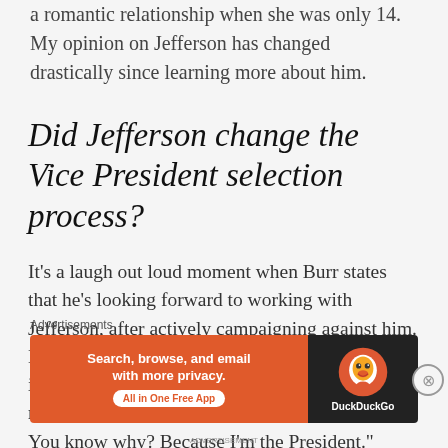a romantic relationship when she was only 14. My opinion on Jefferson has changed drastically since learning more about him.
Did Jefferson change the Vice President selection process?
It's a laugh out loud moment when Burr states that he's looking forward to working with Jefferson, after actively campaigning against him. Madison says, yes, it's crazy that the guy comes in second gets to be Vice President. Jefferson responds,"you know what? We can change that. You know why? Because I'm the President."
Advertisements
[Figure (screenshot): DuckDuckGo advertisement banner: Search, browse, and email with more privacy. All in One Free App. Shows DuckDuckGo duck logo on dark background.]